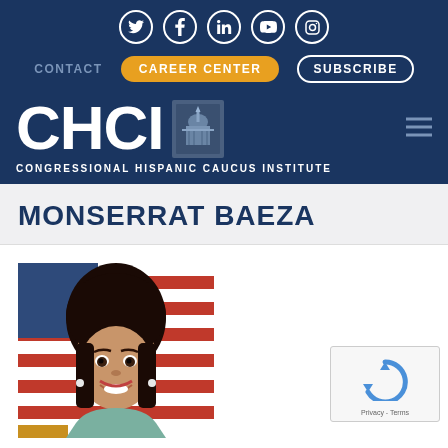Social icons: Twitter, Facebook, LinkedIn, YouTube, Instagram
CONTACT | CAREER CENTER | SUBSCRIBE
[Figure (logo): CHCI - Congressional Hispanic Caucus Institute logo with capitol building icon, white text on dark navy background]
MONSERRAT BAEZA
[Figure (photo): Portrait photo of Monserrat Baeza smiling, with American flag in background, wearing dark hair and light colored top]